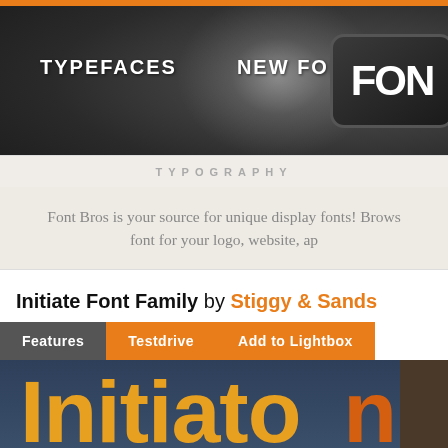TYPEFACES   NEW FONTS   FON
TYPOGRAPHY
Font Bros is your source for unique display fonts! Brows font for your logo, website, ap
Initiate Font Family by Stiggy & Sands
Features   Testdrive   Add to Lightbox
[Figure (screenshot): Large display text showing 'Initiate' in orange/amber bold condensed font on dark navy blue background, partially cropped]